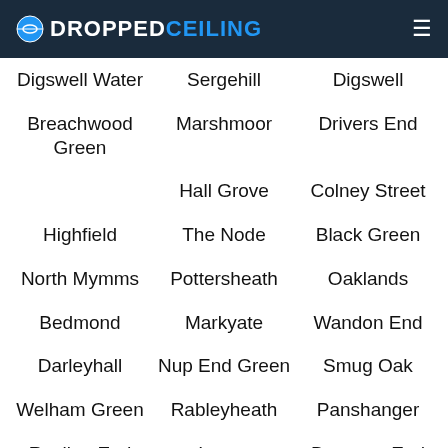DROPPED CEILING
Digswell Water
Sergehill
Digswell
Breachwood Green
Marshmoor
Drivers End
Hall Grove
Colney Street
Highfield
The Node
Black Green
North Mymms
Pottersheath
Oaklands
Bedmond
Markyate
Wandon End
Darleyhall
Nup End Green
Smug Oak
Welham Green
Rableyheath
Panshanger
Rusling End
Lower Woodside
Bennetts End